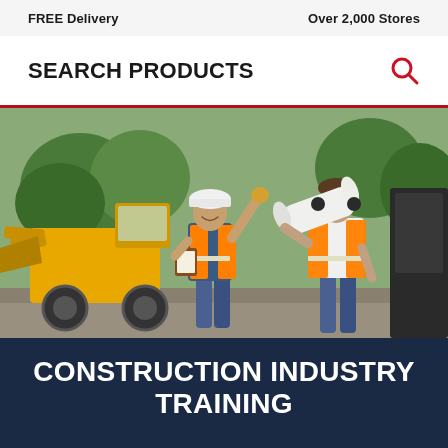FREE Delivery    Over 2,000 Stores
SEARCH PRODUCTS
[Figure (photo): Two construction workers in orange safety vests and hard hats standing on a construction site. One worker is pointing upward while holding a clipboard, the other is carrying rolled blueprints. A yellow front-loader is visible in the background.]
CONSTRUCTION INDUSTRY TRAINING
Construction ind... valuable. W...
Contact Us